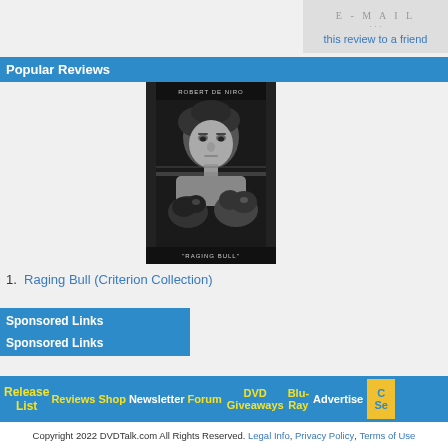E - M A I L
this review to a friend
Popular Reviews
[Figure (photo): Black and white movie poster/cover for Raging Bull (Criterion Collection) showing Robert De Niro as a boxer with boxing gloves raised, wearing no shirt, text at top reads ROBERT DE NIRO and at bottom RAGING BULL]
1. Raging Bull (Criterion Collection)
Sponsored Links
Sponsored Links
Release List   Reviews   Shop   Newsletter   Forum   DVD Giveaways   Blu-Ray   Advertise   C... Se...
Copyright 2022 DVDTalk.com All Rights Reserved. Legal Info, Privacy Policy, Terms of Use